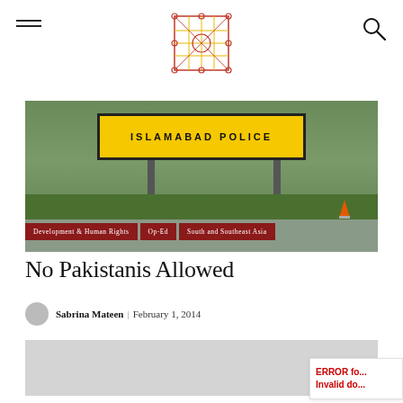Navigation header with hamburger menu, logo, and search icon
[Figure (photo): Islamabad Police yellow sign on a roadside, with green grass and grey road in the background]
Development & Human Rights
Op-Ed
South and Southeast Asia
No Pakistanis Allowed
Sabrina Mateen | February 1, 2014
[Figure (photo): Gray placeholder image area below byline]
ERROR fo... Invalid do...